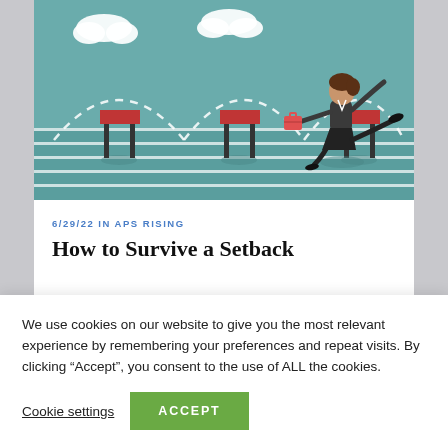[Figure (illustration): Illustration of a businesswoman in a dark blazer and skirt leaping over red and dark-colored hurdles on a teal track with white lane lines. Dashed white arc paths show the jumping trajectory. White clouds in the upper background. Flat cartoon style.]
6/29/22 IN APS RISING
How to Survive a Setback
We use cookies on our website to give you the most relevant experience by remembering your preferences and repeat visits. By clicking “Accept”, you consent to the use of ALL the cookies.